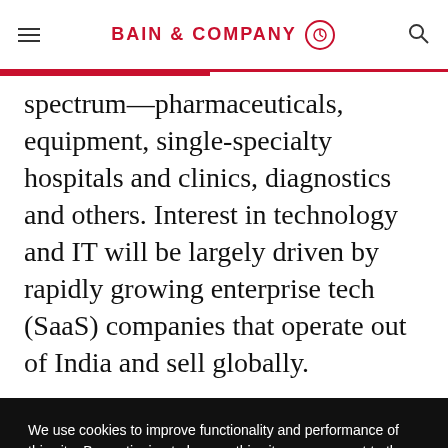BAIN & COMPANY
spectrum—pharmaceuticals, equipment, single-specialty hospitals and clinics, diagnostics and others. Interest in technology and IT will be largely driven by rapidly growing enterprise tech (SaaS) companies that operate out of India and sell globally.
We use cookies to improve functionality and performance of this site. By continuing to browse this site, you consent to the use of cookies.
ACCEPT ALL COOKIES